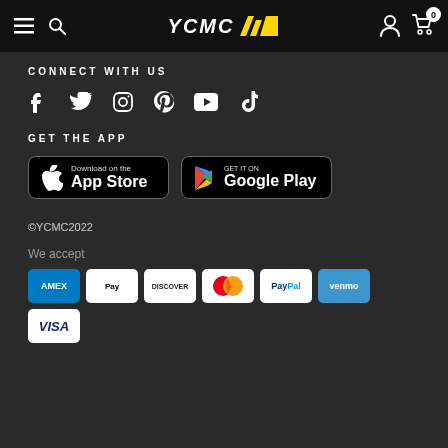YCMC — Navigation bar with hamburger, search, logo, user account, and cart (0 items)
CONNECT WITH US
[Figure (infographic): Social media icons: Facebook, Twitter, Instagram, Pinterest, YouTube, TikTok]
GET THE APP
[Figure (infographic): Download on the App Store button and Get it on Google Play button]
©YCMC2022
We accept
[Figure (infographic): Payment method icons: American Express, Apple Pay, Discover, Mastercard, PayPal, Venmo, Visa]